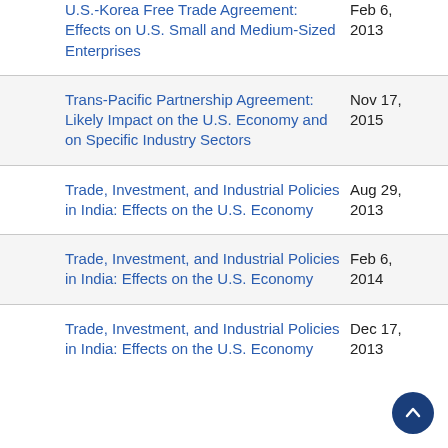U.S.-Korea Free Trade Agreement: Effects on U.S. Small and Medium-Sized Enterprises — Feb 6, 2013
Trans-Pacific Partnership Agreement: Likely Impact on the U.S. Economy and on Specific Industry Sectors — Nov 17, 2015
Trade, Investment, and Industrial Policies in India: Effects on the U.S. Economy — Aug 29, 2013
Trade, Investment, and Industrial Policies in India: Effects on the U.S. Economy — Feb 6, 2014
Trade, Investment, and Industrial Policies in India: Effects on the U.S. Economy — Dec 17, 2013